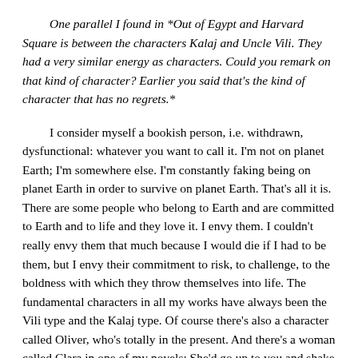One parallel I found in *Out of Egypt and Harvard Square is between the characters Kalaj and Uncle Vili. They had a very similar energy as characters. Could you remark on that kind of character? Earlier you said that's the kind of character that has no regrets.*
I consider myself a bookish person, i.e. withdrawn, dysfunctional: whatever you want to call it. I'm not on planet Earth; I'm somewhere else. I'm constantly faking being on planet Earth in order to survive on planet Earth. That's all it is. There are some people who belong to Earth and are committed to Earth and to life and they love it. I envy them. I couldn't really envy them that much because I would die if I had to be them, but I envy their commitment to risk, to challenge, to the boldness with which they throw themselves into life. The fundamental characters in all my works have always been the Vili type and the Kalaj type. Of course there's also a character called Oliver, who's totally in the present. And there's a woman called Clara in one of my novels: She'd go up to you and shake your hand and say, "I'm Clara. Who are you?" I love people like